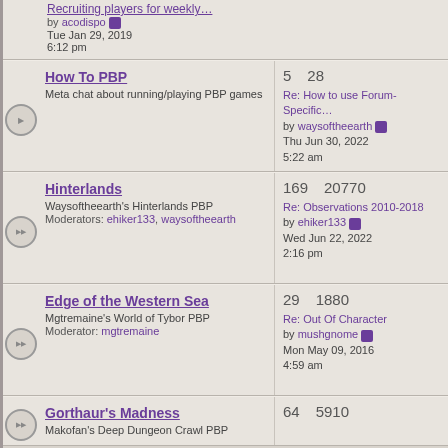Recruiting players for weekly… by acodispo Tue Jan 29, 2019 6:12 pm
How To PBP
Meta chat about running/playing PBP games
5 28
Re: How to use Forum-Specific… by waysoftheearth Thu Jun 30, 2022 5:22 am
Hinterlands
Waysoftheearth's Hinterlands PBP
Moderators: ehiker133, waysoftheearth
169 20770
Re: Observations 2010-2018 by ehiker133 Wed Jun 22, 2022 2:16 pm
Edge of the Western Sea
Mgtremaine's World of Tybor PBP
Moderator: mgtremaine
29 1880
Re: Out Of Character by mushgnome Mon May 09, 2016 4:59 am
Gorthaur's Madness
Makofan's Deep Dungeon Crawl PBP
64 5910